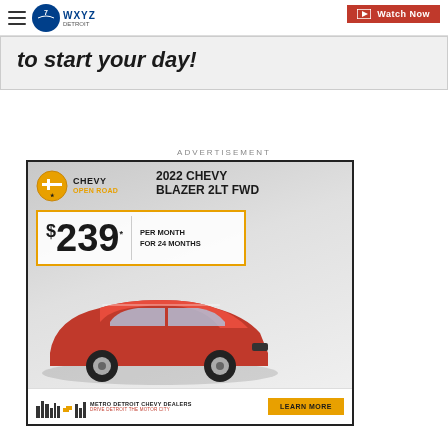WXYZ Detroit - Watch Now
to start your day!
ADVERTISEMENT
[Figure (photo): Chevrolet Open Road advertisement showing a red 2022 Chevy Blazer 2LT FWD with pricing of $239 per month for 24 months, Metro Detroit Chevy Dealers, Learn More button]